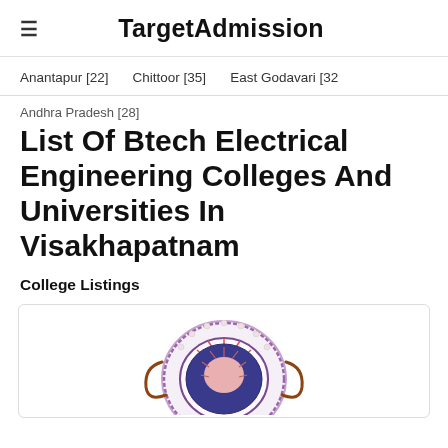TargetAdmission
Anantapur [22]   Chittoor [35]   East Godavari [32
Andhra Pradesh [28]
List Of Btech Electrical Engineering Colleges And Universities In Visakhapatnam
College Listings
[Figure (logo): University/college circular emblem logo with decorative border]